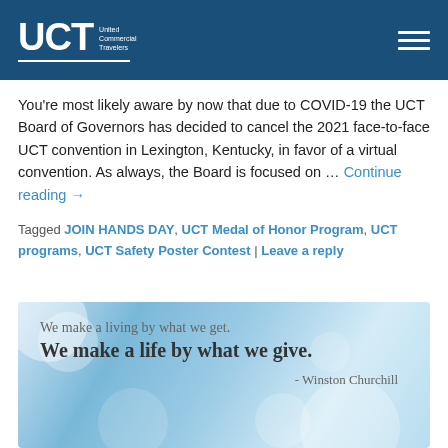UCT — United Commercial Travelers
You're most likely aware by now that due to COVID-19 the UCT Board of Governors has decided to cancel the 2021 face-to-face UCT convention in Lexington, Kentucky, in favor of a virtual convention. As always, the Board is focused on … Continue reading →
Tagged JOIN HANDS DAY, UCT Medal of Honor Program, UCT programs, UCT Safety Poster Contest | Leave a reply
[Figure (illustration): Inspirational quote card with bokeh blue background. Text reads: 'We make a living by what we get. We make a life by what we give.' attributed to Winston Churchill]